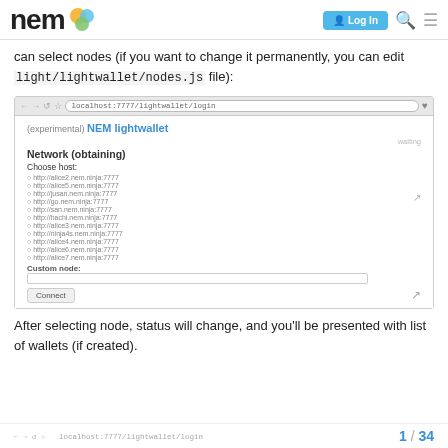nem [logo] | Log In [button] [search] [menu]
can select nodes (if you want to change it permanently, you can edit light/lightwallet/nodes.js file):
[Figure (screenshot): Browser screenshot showing NEM lightwallet login page with Network (obtaining) section and Choose host radio button list including http://alice2.nem.ninja:7777, http://alice5.nem.ninja:7777, http://jusan.nem.ninja:7777, http://go.nem.ninja:7777, http://san.nem.ninja:7777, http://hachi.nem.ninja:7777, http://alice3.nem.ninja:7777, http://ninja4s.nem.ninja:7777, http://alice4.nem.ninja:7777, http://alice6.nem.ninja:7777, http://alice7.nem.ninja:7777, Custom node field, and Connect button]
After selecting node, status will change, and you'll be presented with list of wallets (if created).
1 / 34